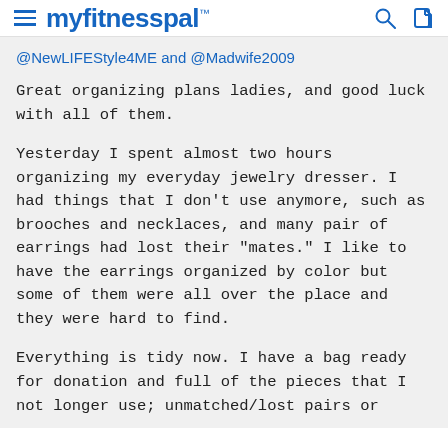myfitnesspal
@NewLIFEStyle4ME and @Madwife2009
Great organizing plans ladies, and good luck with all of them.
Yesterday I spent almost two hours organizing my everyday jewelry dresser. I had things that I don't use anymore, such as brooches and necklaces, and many pair of earrings had lost their "mates." I like to have the earrings organized by color but some of them were all over the place and they were hard to find.
Everything is tidy now. I have a bag ready for donation and full of the pieces that I not longer use; unmatched/lost pairs or